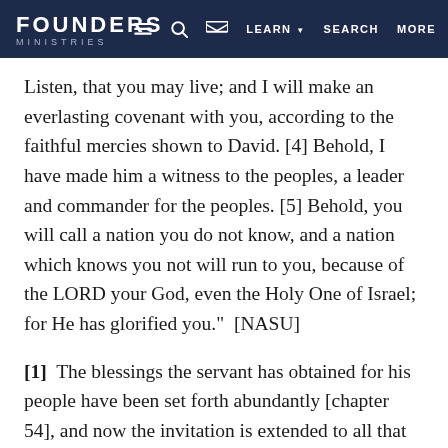FOUNDERS MINISTRIES | LEARN | SEARCH | MORE
Listen, that you may live; and I will make an everlasting covenant with you, according to the faithful mercies shown to David. [4] Behold, I have made him a witness to the peoples, a leader and commander for the peoples. [5] Behold, you will call a nation you do not know, and a nation which knows you not will run to you, because of the LORD your God, even the Holy One of Israel; for He has glorified you." [NASU]
[1] The blessings the servant has obtained for his people have been set forth abundantly [chapter 54], and now the invitation is extended to all that are in need to come and to partake of the salvation the Lord offers. The prophet is an evangelist with a concern for the souls of men and a realization of their desperate condition without the blessings that the